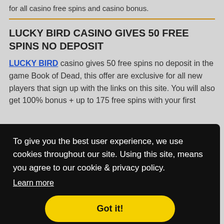for all casino free spins and casino bonus.
LUCKY BIRD CASINO GIVES 50 FREE SPINS NO DEPOSIT
LUCKY BIRD casino gives 50 free spins no deposit in the game Book of Dead, this offer are exclusive for all new players that sign up with the links on this site. You will also get 100% bonus + up to 175 free spins with your first deposit
To give you the best user experience, we use cookies throughout our site. Using this site, means you agree to our cookie & privacy policy. Learn more
Got it!
eposit
N/0.1
GSD/0.1 25/10 RSD; Wager – 70x; max bet while bonus active – 0 USD/0 EUR/0 PLNIG FRUMES THE